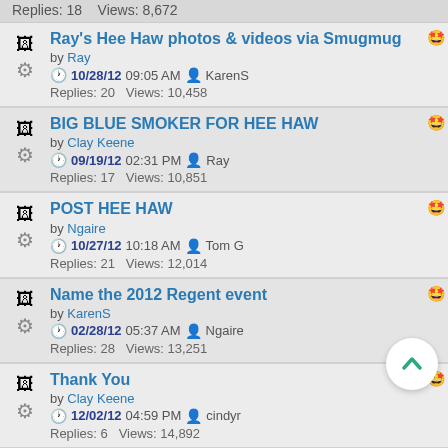Replies: 18    Views: 8,672
Ray's Hee Haw photos & videos via Smugmug by Ray | 10/28/12 09:05 AM | KarenS | Replies: 20  Views: 10,458
BIG BLUE SMOKER FOR HEE HAW by Clay Keene | 09/19/12 02:31 PM | Ray | Replies: 17  Views: 10,851
POST HEE HAW by Ngaire | 10/27/12 10:18 AM | Tom G | Replies: 21  Views: 12,014
Name the 2012 Regent event by KarenS | 02/28/12 05:37 AM | Ngaire | Replies: 28  Views: 13,251
Thank You by Clay Keene | 12/02/12 04:59 PM | cindyr | Replies: 6  Views: 14,892
It's almost here...